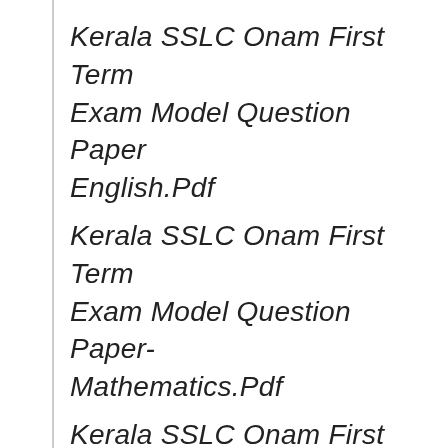Kerala SSLC Onam First Term Exam Model Question Paper English.Pdf
Kerala SSLC Onam First Term Exam Model Question Paper- Mathematics.Pdf
Kerala SSLC Onam First Term Exam Model Question Paper SS.Pdf
Kerala SSLC Onam First Term